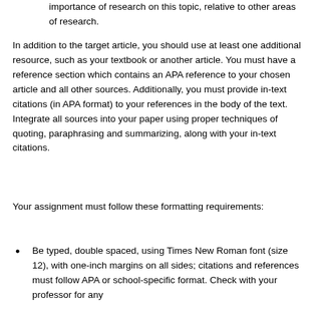importance of research on this topic, relative to other areas of research.
In addition to the target article, you should use at least one additional resource, such as your textbook or another article. You must have a reference section which contains an APA reference to your chosen article and all other sources. Additionally, you must provide in-text citations (in APA format) to your references in the body of the text. Integrate all sources into your paper using proper techniques of quoting, paraphrasing and summarizing, along with your in-text citations.
Your assignment must follow these formatting requirements:
Be typed, double spaced, using Times New Roman font (size 12), with one-inch margins on all sides; citations and references must follow APA or school-specific format. Check with your professor for any